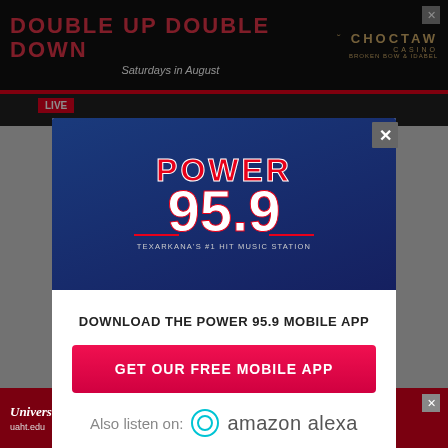[Figure (screenshot): Top advertisement banner for Choctaw Casino 'Double Up Double Down' promotion, Saturdays in August, Broken Bow & Idabel]
[Figure (screenshot): Modal popup overlay on a radio station website showing Power 95.9 logo, prompt to download the mobile app, and Amazon Alexa option]
DOWNLOAD THE POWER 95.9 MOBILE APP
GET OUR FREE MOBILE APP
Also listen on:  amazon alexa
[Figure (screenshot): Bottom advertisement banner for University of Arkansas Hope-Texarkana, uaht.edu, 870-777-5722]